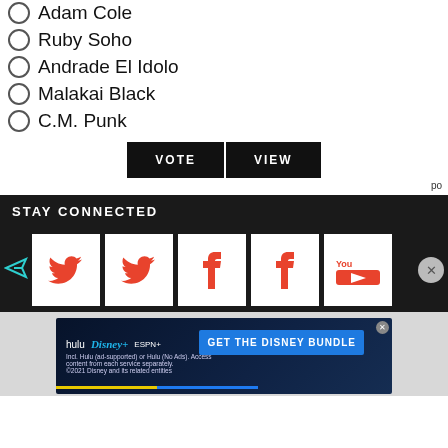Adam Cole
Ruby Soho
Andrade El Idolo
Malakai Black
C.M. Punk
VOTE   VIEW
po
STAY CONNECTED
[Figure (screenshot): Social media icons: two Twitter birds, two Facebook f logos, one YouTube logo, all in red/orange on white squares]
[Figure (infographic): Disney Bundle advertisement showing Hulu, Disney+, ESPN+ logos with GET THE DISNEY BUNDLE CTA]